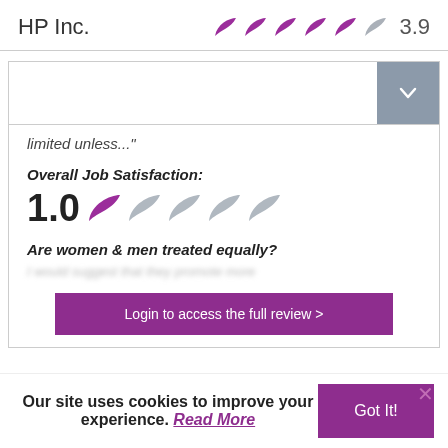HP Inc.   3.9
[Figure (screenshot): Dropdown selector UI element with chevron button on right]
limited unless..."
Overall Job Satisfaction:
1.0 (1 out of 5 star rating shown with feather icons)
Are women & men treated equally?
I would suggest that they provide more
Login to access the full review >
Our site uses cookies to improve your experience. Read More
Got It!